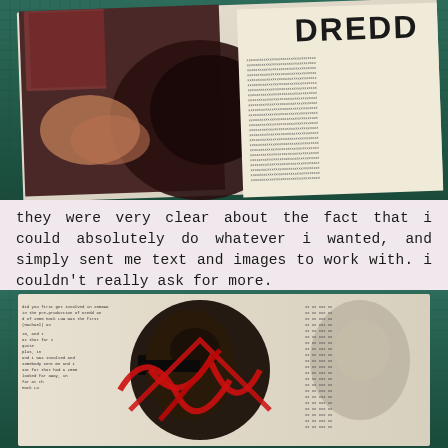[Figure (photo): Close-up photograph of comic book or magazine pages spread open on a dark green cutting mat, showing illustrated figures and dense text columns with partial title reading 'DREDD' visible in large letters]
they were very clear about the fact that i could absolutely do whatever i wanted, and simply sent me text and images to work with. i couldn't really ask for more.
[Figure (photo): Close-up photograph of an open magazine or fanzine featuring a dark armored action figure/toy posed over the pages, with red graphic elements overlaid and dense interview text visible in the background]